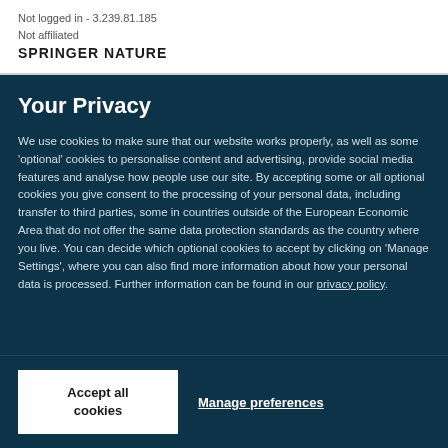Not logged in - 3.239.81.185
Not affiliated
SPRINGER NATURE
Your Privacy
We use cookies to make sure that our website works properly, as well as some ‘optional’ cookies to personalise content and advertising, provide social media features and analyse how people use our site. By accepting some or all optional cookies you give consent to the processing of your personal data, including transfer to third parties, some in countries outside of the European Economic Area that do not offer the same data protection standards as the country where you live. You can decide which optional cookies to accept by clicking on ‘Manage Settings’, where you can also find more information about how your personal data is processed. Further information can be found in our privacy policy.
Accept all cookies
Manage preferences